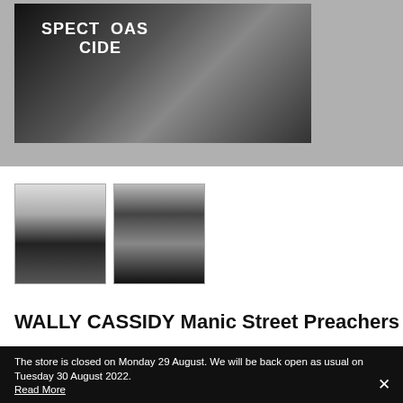[Figure (photo): Black and white photograph mounted on a grey wall, showing punk figures, one wearing a jacket with text 'SPECT...OAS...CIDE' visible]
[Figure (photo): Thumbnail 1: small black and white photograph with document/label at top, showing people]
[Figure (photo): Thumbnail 2: small black and white photograph showing a musician on stage]
WALLY CASSIDY Manic Street Preachers
The store is closed on Monday 29 August. We will be back open as usual on Tuesday 30 August 2022. Read More